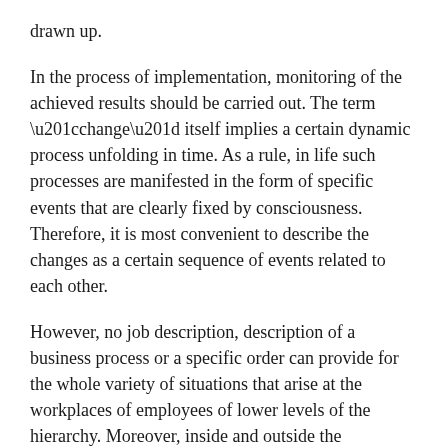drawn up.
In the process of implementation, monitoring of the achieved results should be carried out. The term “change” itself implies a certain dynamic process unfolding in time. As a rule, in life such processes are manifested in the form of specific events that are clearly fixed by consciousness. Therefore, it is most convenient to describe the changes as a certain sequence of events related to each other.
However, no job description, description of a business process or a specific order can provide for the whole variety of situations that arise at the workplaces of employees of lower levels of the hierarchy. Moreover, inside and outside the organization, there are constantly a lot of events that violate the usual course of work.
At the same time, the information transmitted through vertical and horizontal channels in the form